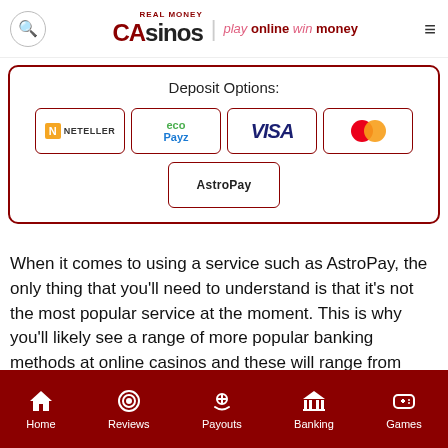CA Real Money Casinos | play online win money
[Figure (infographic): Deposit Options section showing payment method badges: Neteller, ecoPayz, VISA, Mastercard, AstroPay]
When it comes to using a service such as AstroPay, the only thing that you'll need to understand is that it's not the most popular service at the moment. This is why you'll likely see a range of more popular banking methods at online casinos and these will range from various banking methods such as e-wallets, debit/credit cards, and even cryptocurrency.
Home | Reviews | Payouts | Banking | Games